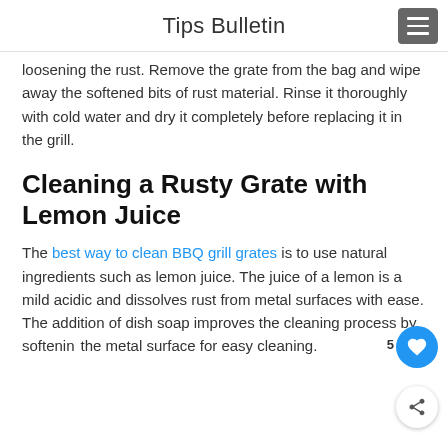Tips Bulletin
loosening the rust. Remove the grate from the bag and wipe away the softened bits of rust material. Rinse it thoroughly with cold water and dry it completely before replacing it in the grill.
Cleaning a Rusty Grate with Lemon Juice
The best way to clean BBQ grill grates is to use natural ingredients such as lemon juice. The juice of a lemon is a mild acidic and dissolves rust from metal surfaces with ease. The addition of dish soap improves the cleaning process by softening the metal surface for easy cleaning.